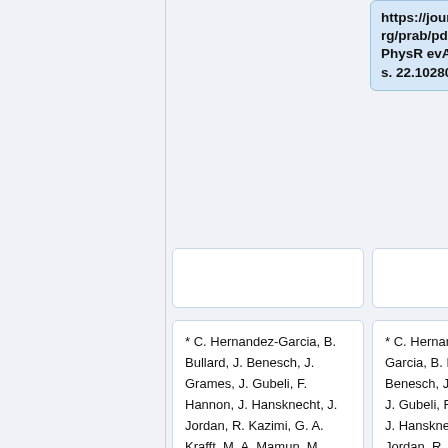https://journals.aps.org/prab/pdf/10.1103/PhysRevAccelBeams.22.102801
* C. Hernandez-Garcia, B. Bullard, J. Benesch, J. Grames, J. Gubeli, F. Hannon, J. Hansknecht, J. Jordan, R. Kazimi, G. A. Krafft, M. A. Mamun, M. Poelker, M. L. Stutzman, R. Suleiman, M. Tiefenback, Y.
* C. Hernandez-Garcia, B. Bullard, J. Benesch, J. Grames, J. Gubeli, F. Hannon, J. Hansknecht, J. Jordan, R. Kazimi, G. A. Krafft, M. A. Mamun, M. Poelker, M. L. Stutzman, R. Suleiman, M. Tiefenback, Y.